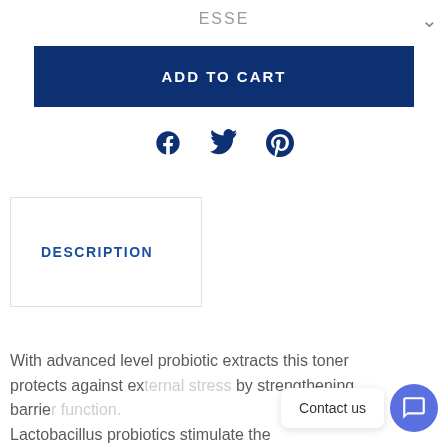ESSE
ADD TO CART
[Figure (illustration): Social share icons: Facebook, Twitter, Pinterest in dark blue]
DESCRIPTION
With advanced level probiotic extracts this toner protects against ex... ss... by strengthening barrie... function. Lactobacillus probiotics stimulate the
Contact us